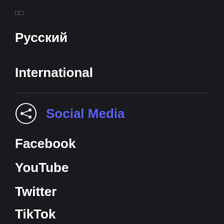■■
Русский
International
Social Media
Facebook
YouTube
Twitter
TikTok
Quora